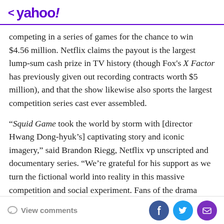< yahoo!
competing in a series of games for the chance to win $4.56 million. Netflix claims the payout is the largest lump-sum cash prize in TV history (though Fox's X Factor has previously given out recording contracts worth $5 million), and that the show likewise also sports the largest competition series cast ever assembled.
“Squid Game took the world by storm with [director Hwang Dong-hyuk’s] captivating story and iconic imagery,” said Brandon Riegg, Netflix vp unscripted and documentary series. “We’re grateful for his support as we turn the fictional world into reality in this massive competition and social experiment. Fans of the drama
View comments